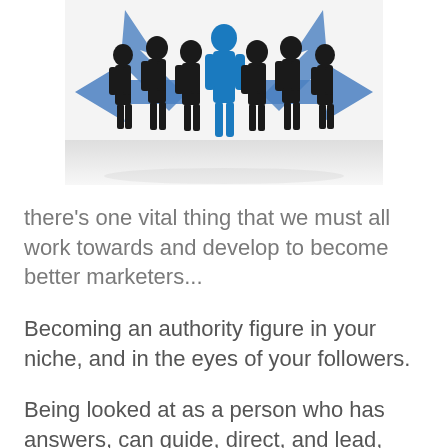[Figure (illustration): Silhouettes of business people grouped together, with one figure highlighted in blue in the center foreground, blue arrows pointing outward in multiple directions in the background, suggesting leadership or direction.]
there's one vital thing that we must all work towards and develop to become better marketers...
Becoming an authority figure in your niche, and in the eyes of your followers.
Being looked at as a person who has answers, can guide, direct, and lead,